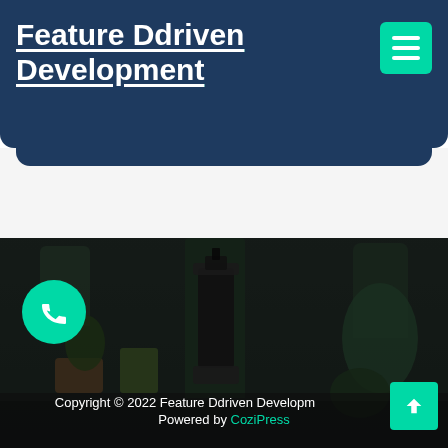Feature Ddriven Development
[Figure (photo): Dark toned photo of potted plants, succulents, and a lantern on a table, used as website background image]
Copyright © 2022 Feature Ddriven Development
Powered by CoziPress